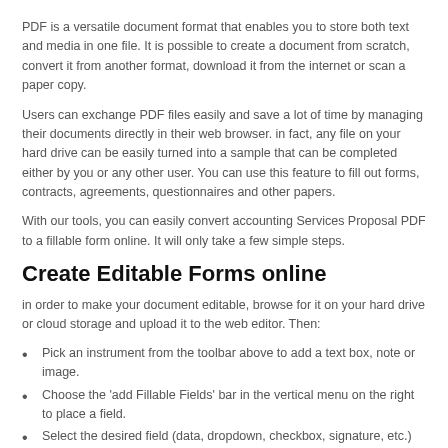PDF is a versatile document format that enables you to store both text and media in one file. It is possible to create a document from scratch, convert it from another format, download it from the internet or scan a paper copy.
Users can exchange PDF files easily and save a lot of time by managing their documents directly in their web browser. in fact, any file on your hard drive can be easily turned into a sample that can be completed either by you or any other user. You can use this feature to fill out forms, contracts, agreements, questionnaires and other papers.
With our tools, you can easily convert accounting Services Proposal PDF to a fillable form online. It will only take a few simple steps.
Create Editable Forms online
in order to make your document editable, browse for it on your hard drive or cloud storage and upload it to the web editor. Then:
Pick an instrument from the toolbar above to add a text box, note or image.
Choose the ‘add Fillable Fields’ bar in the vertical menu on the right to place a field.
Select the desired field (data, dropdown, checkbox, signature, etc.) and drag it to a specific location on the page.
adjust the field’s size and alignment if needed.